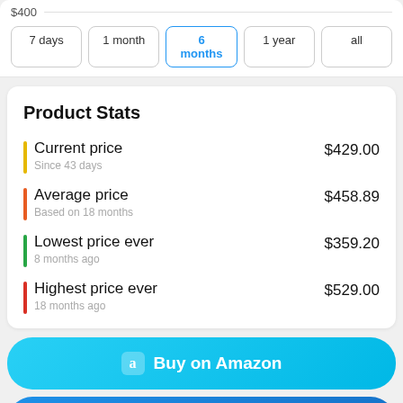$400
7 days
1 month
6 months
1 year
all
Product Stats
Current price
Since 43 days
$429.00
Average price
Based on 18 months
$458.89
Lowest price ever
8 months ago
$359.20
Highest price ever
18 months ago
$529.00
Buy on Amazon
Start Watching